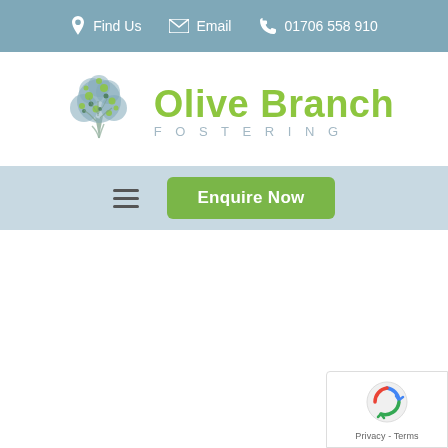Find Us  Email  01706 558 910
[Figure (logo): Olive Branch Fostering logo with tree illustration and text 'Olive Branch FOSTERING']
[Figure (screenshot): Navigation bar with hamburger menu icon and green 'Enquire Now' button]
[Figure (other): reCAPTCHA badge in bottom right corner showing Privacy - Terms]